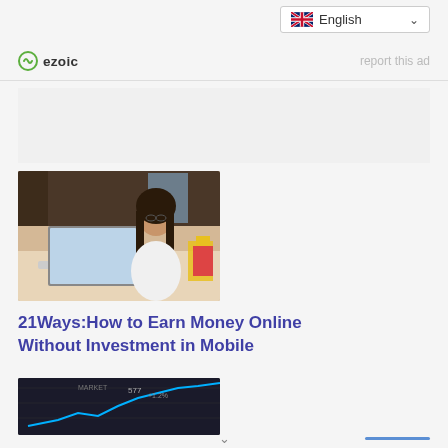English (language selector dropdown)
ezoic   report this ad
[Figure (photo): Young woman with long dark hair sitting at a cafe table working on a laptop, wearing a white top, with colorful shopping bags visible in the background]
21Ways:How to Earn Money Online Without Investment in Mobile
[Figure (photo): Dark background image showing financial chart with upward trend lines and numbers, resembling stock market data]